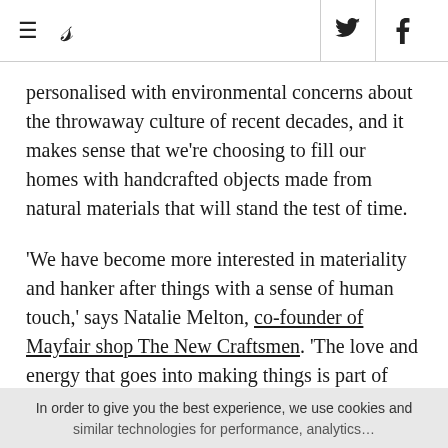≡  S  [twitter] [facebook]
personalised with environmental concerns about the throwaway culture of recent decades, and it makes sense that we're choosing to fill our homes with handcrafted objects made from natural materials that will stand the test of time.
'We have become more interested in materiality and hanker after things with a sense of human touch,' says Natalie Melton, co-founder of Mayfair shop The New Craftsmen. 'The love and energy that goes into making things is part of what we buy. We want to know the makers, where they come from,
In order to give you the best experience, we use cookies and similar technologies for performance, analytics…